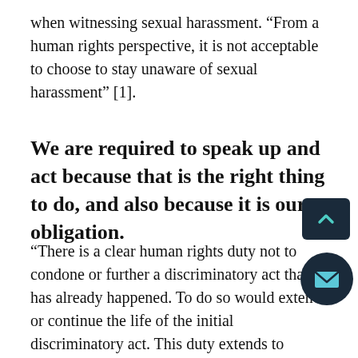when witnessing sexual harassment. “From a human rights perspective, it is not acceptable to choose to stay unaware of sexual harassment” [1].
We are required to speak up and act because that is the right thing to do, and also because it is our obligation.
“There is a clear human rights duty not to condone or further a discriminatory act that has already happened. To do so would extend or continue the life of the initial discriminatory act. This duty extends to people who, while not the main actors, are drawn into a